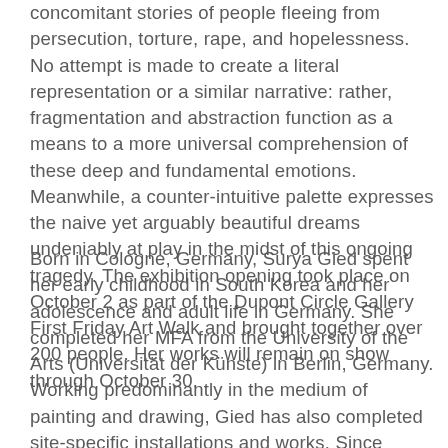concomitant stories of people fleeing from persecution, torture, rape, and hopelessness. No attempt is made to create a literal representation or a similar narrative: rather, fragmentation and abstraction function as a means to a more universal comprehension of these deep and fundamental emotions. Meanwhile, a counter-intuitive palette expresses the naive yet arguably beautiful dreams undeniably at play in the midst of this ongoing tragedy. The exhibition opening took place on October 2 as part of the Dupont Circle Gallery First Friday Art Walk and brought together over 200 people. Her works will remain on show through October 30.
Born in Cologne, Germany, Surya Gied spent her early childhood in South Korea and her adolescence and adult life in Germany. She completed her MFA from the University of the Arts (Universität der Künste) in Berlin, Germany. Working predominantly in the medium of painting and drawing, Gied has also completed site-specific installations and works. Since 2008, she has exhibited in project spaces, art institutes, and galleries in Berlin, Seoul, Sydney, and Los Angeles. Gied lives and works between Berlin and Fairfield,